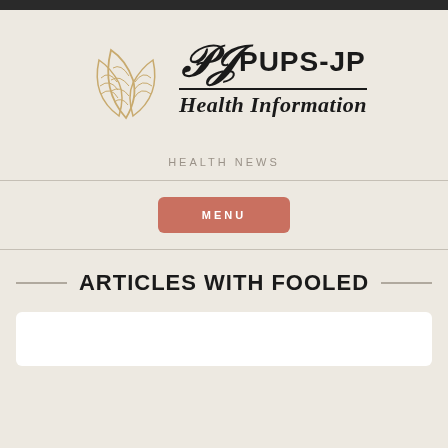[Figure (logo): PUPS-JP Health Information logo with golden leaf/petal outline SVG illustration and bold serif PJ monogram]
HEALTH NEWS
MENU
ARTICLES WITH FOOLED